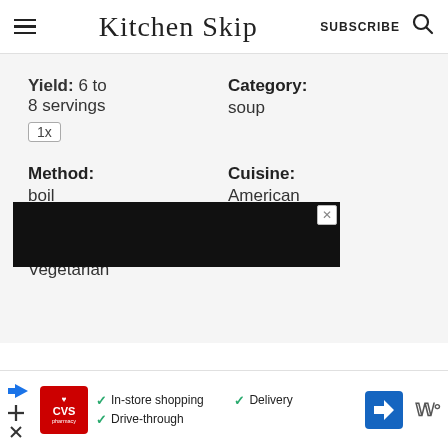Kitchen Skip | SUBSCRIBE
Yield: 6 to 8 servings
Category: soup
1x
Method: boil
Cuisine: American
Diet: Vegetarian
[Figure (screenshot): Black advertisement banner with a close X button]
[Figure (screenshot): CVS Pharmacy advertisement showing In-store shopping, Drive-through, and Delivery options with directions icon]